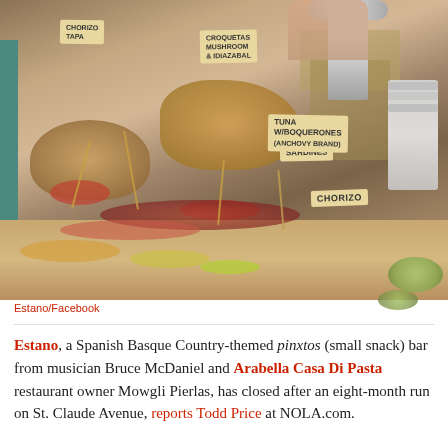[Figure (photo): A bar counter displaying various Spanish pinxtos (small snacks) on platters with label cards reading 'Chorizo', 'Sardines', 'Tuna w/ Boquerones', and others. A silver beer tap and stacked clear cups are visible on the right. A teal-painted bar front is on the left.]
Estano/Facebook
Estano, a Spanish Basque Country-themed pinxtos (small snack) bar from musician Bruce McDaniel and Arabella Casa Di Pasta restaurant owner Mowgli Pierlas, has closed after an eight-month run on St. Claude Avenue, reports Todd Price at NOLA.com.